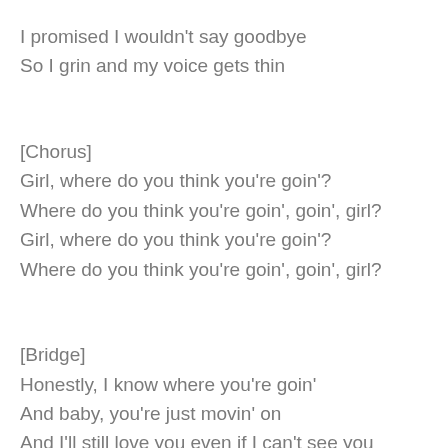I promised I wouldn't say goodbye
So I grin and my voice gets thin
[Chorus]
Girl, where do you think you're goin'?
Where do you think you're goin', goin', girl?
Girl, where do you think you're goin'?
Where do you think you're goin', goin', girl?
[Bridge]
Honestly, I know where you're goin'
And baby, you're just movin' on
And I'll still love you even if I can't see you